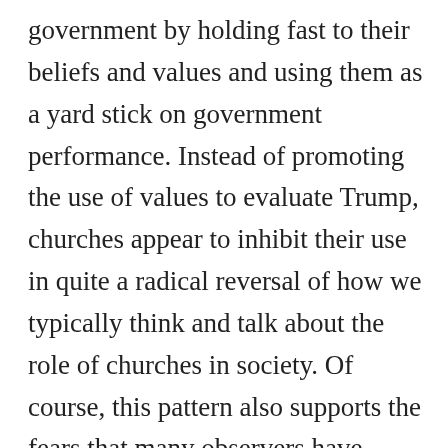government by holding fast to their beliefs and values and using them as a yard stick on government performance. Instead of promoting the use of values to evaluate Trump, churches appear to inhibit their use in quite a radical reversal of how we typically think and talk about the role of churches in society. Of course, this pattern also supports the fears that many observers have expressed, that conservative churches in the US have lost their ability to exercise a prophetic voice to government. It remains to be seen if these relationships hold as time passes from the 2016 election, but the